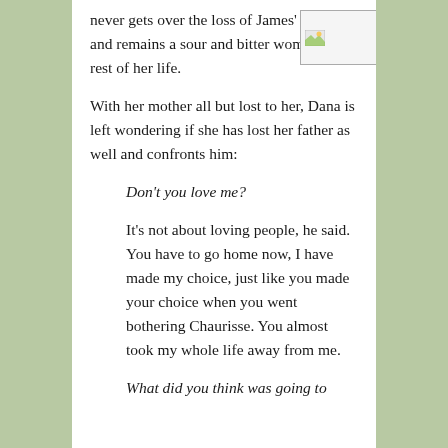never gets over the loss of James' affection and remains a sour and bitter woman the rest of her life.
[Figure (photo): Small broken image placeholder in upper right corner]
With her mother all but lost to her, Dana is left wondering if she has lost her father as well and confronts him:
Don't you love me?
It's not about loving people, he said. You have to go home now, I have made my choice, just like you made your choice when you went bothering Chaurisse. You almost took my whole life away from me.
What did you think was going to happen? Did he think that I...